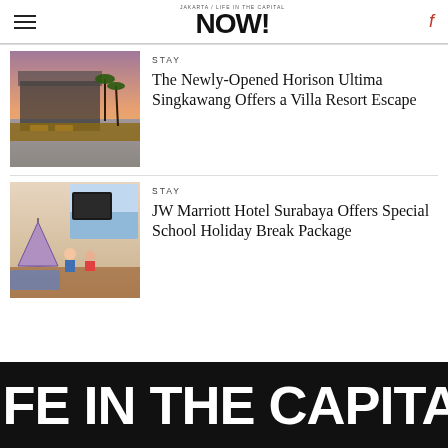Jakarta Now! - Life in the Capital
[Figure (photo): Photo of a resort villa with pool deck at sunset]
STAY
The Newly-Opened Horison Ultima Singkawang Offers a Villa Resort Escape
[Figure (photo): Photo of children playing in a hotel room with teepee tent]
STAY
JW Marriott Hotel Surabaya Offers Special School Holiday Break Package
LIFE IN THE CAPITAL